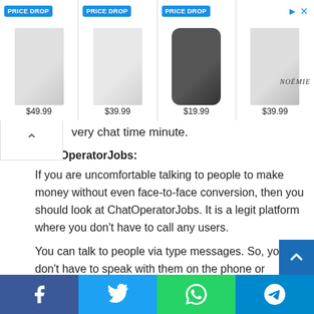[Figure (screenshot): Advertisement banner showing four product items with PRICE DROP badges. Products: phone case $49.99, phone case $39.99, AirPods case $19.99, phone case $39.99. NOEMIE brand shown. Arrow/close button top right.]
very chat time minute.
7. ChatOperatorJobs: If you are uncomfortable talking to people to make money without even face-to-face conversion, then you should look at ChatOperatorJobs. It is a legit platform where you don't have to call any users.

You can talk to people via type messages. So, you don't have to speak with them on the phone or webcam. These messages are adult messages, and you can earn $0.20 per message that you send in reply. You can also work at your convenience. There is no limit for timing. The only thing you have is over 22 years and a PayPal account
[Figure (screenshot): Social share bar at bottom with Facebook, Twitter, WhatsApp, and Telegram buttons]